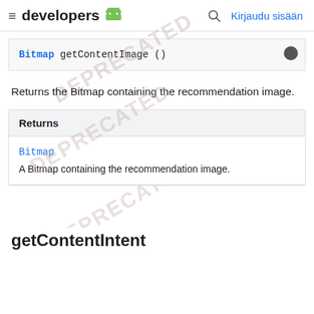≡ developers  🤖  🔍  Kirjaudu sisään
Bitmap getContentImage ()
Returns the Bitmap containing the recommendation image.
| Returns |
| --- |
| Bitmap | A Bitmap containing the recommendation image. |
getContentIntent